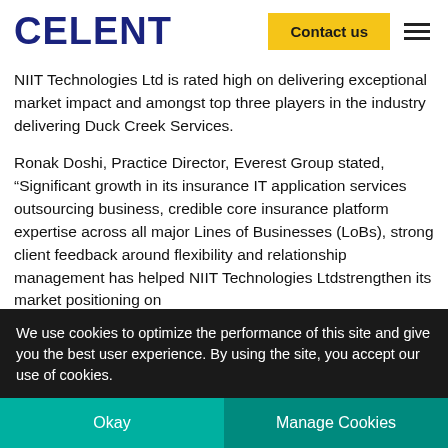CELENT
NIIT Technologies Ltd is rated high on delivering exceptional market impact and amongst top three players in the industry delivering Duck Creek Services.
Ronak Doshi, Practice Director, Everest Group stated, “Significant growth in its insurance IT application services outsourcing business, credible core insurance platform expertise across all major Lines of Businesses (LoBs), strong client feedback around flexibility and relationship management has helped NIIT Technologies Ltdstrengthen its market positioning on
We use cookies to optimize the performance of this site and give you the best user experience. By using the site, you accept our use of cookies.
Okay
Manage Cookies